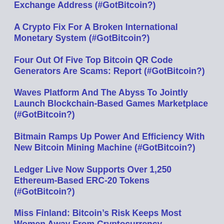Exchange Address (#GotBitcoin?)
A Crypto Fix For A Broken International Monetary System (#GotBitcoin?)
Four Out Of Five Top Bitcoin QR Code Generators Are Scams: Report (#GotBitcoin?)
Waves Platform And The Abyss To Jointly Launch Blockchain-Based Games Marketplace (#GotBitcoin?)
Bitmain Ramps Up Power And Efficiency With New Bitcoin Mining Machine (#GotBitcoin?)
Ledger Live Now Supports Over 1,250 Ethereum-Based ERC-20 Tokens (#GotBitcoin?)
Miss Finland: Bitcoin's Risk Keeps Most Women Away From Cryptocurrency (#GotBitcoin?)
Artist Akon Loves BTC And Says “It’s Controlled By The